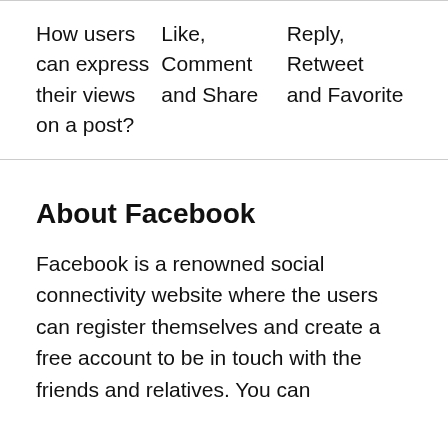| How users can express their views on a post? | Like, Comment and Share | Reply, Retweet and Favorite |
About Facebook
Facebook is a renowned social connectivity website where the users can register themselves and create a free account to be in touch with the friends and relatives. You can